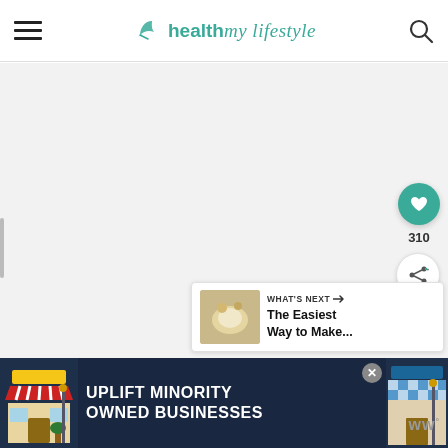health my lifestyle
[Figure (screenshot): Main content area of healthmylifestyle.com website, showing a large blank/white article area below the header, with a like button (heart icon, teal circle), a count of 310, and a share button on the right side. A 'WHAT'S NEXT' card with a thumbnail and 'The Easiest Way to Make...' text is shown at the bottom right.]
[Figure (screenshot): Advertisement banner at the bottom: 'UPLIFT MINORITY OWNED BUSINESSES' with store illustration graphics on the sides, a close (X) button, and a WW logo at the right.]